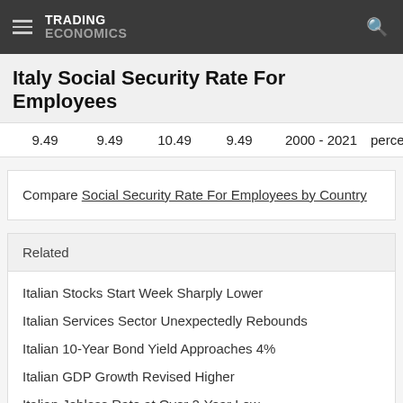TRADING ECONOMICS
Italy Social Security Rate For Employees
| 9.49 | 9.49 | 10.49 | 9.49 | 2000 - 2021 | percent |
Compare Social Security Rate For Employees by Country
Related
Italian Stocks Start Week Sharply Lower
Italian Services Sector Unexpectedly Rebounds
Italian 10-Year Bond Yield Approaches 4%
Italian GDP Growth Revised Higher
Italian Jobless Rate at Over 2-Year Low
Italian Factory Activity Contracts for 2nd Month